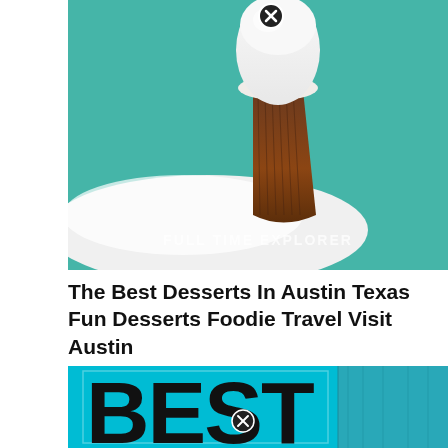[Figure (photo): Close-up photo of a chocolate cupcake with white frosting in a paper wrapper, on a white plate, with teal background. Watermark text 'FULL TIME EXPLORER' in center. Close/remove button icon at top center.]
The Best Desserts In Austin Texas Fun Desserts Foodie Travel Visit Austin
[Figure (photo): Partial view of a graphic with teal/turquoise background and large bold black text reading 'BEST'. Close/remove button icon at bottom center.]